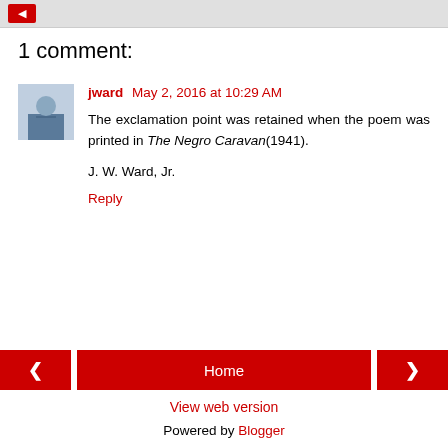[button]
1 comment:
jward May 2, 2016 at 10:29 AM
The exclamation point was retained when the poem was printed in The Negro Caravan(1941).

J. W. Ward, Jr.

Reply
Home
View web version
Powered by Blogger